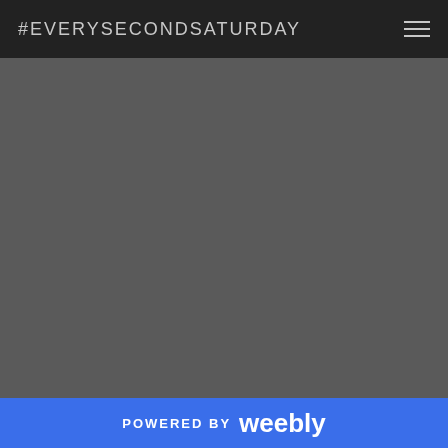#EVERYSECONDSATURDAY
[Figure (other): Large dark gray empty content area, the main body of the webpage]
POWERED BY weebly